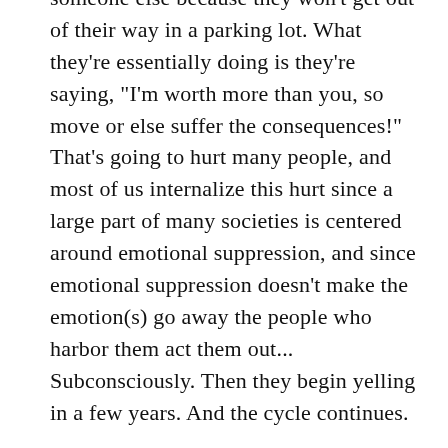someone else because they won't get out of their way in a parking lot. What they're essentially doing is they're saying, “I'm worth more than you, so move or else suffer the consequences!” That's going to hurt many people, and most of us internalize this hurt since a large part of many societies is centered around emotional suppression, and since emotional suppression doesn't make the emotion(s) go away the people who harbor them act them out... Subconsciously. Then they begin yelling in a few years. And the cycle continues.